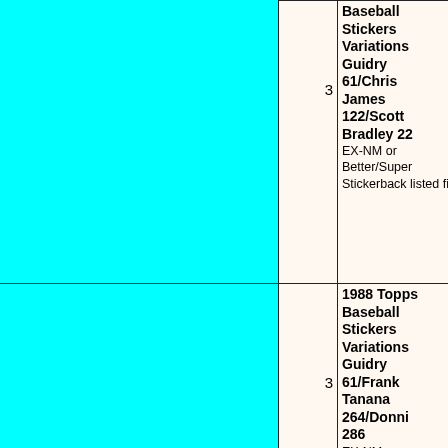|  | Qty | Description |
| --- | --- | --- |
|  | 3 | 1988 Topps Baseball Stickers Variations Guidry 61/Chris James 122/Scott Bradley 22
EX-NM or Better/Super Stickerback listed first |
|  | 3 | 1988 Topps Baseball Stickers Variations Guidry 61/Frank Tanana 264/Donnie 286
EX-NM or Better/Super Stickerback listed first |
|  |  | 1988 Topps Baseball Stickers |